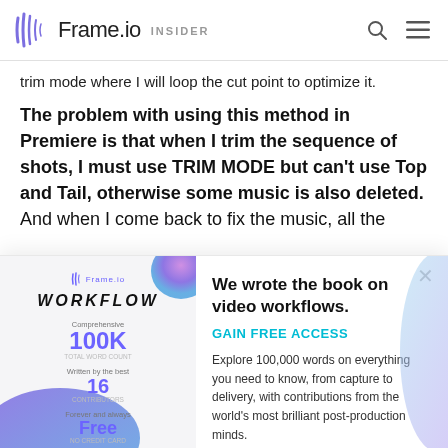Frame.io INSIDER
trim mode where I will loop the cut point to optimize it.
The problem with using this method in Premiere is that when I trim the sequence of shots, I must use TRIM MODE but can't use Top and Tail, otherwise some music is also deleted. And when I come back to fix the music, all the
[Figure (screenshot): Frame.io Workflow book promotional popup with book cover statistics (100K words, 16 contributors, Free), headline 'We wrote the book on video workflows.', GAIN FREE ACCESS link, descriptive text, email input and Get Access button.]